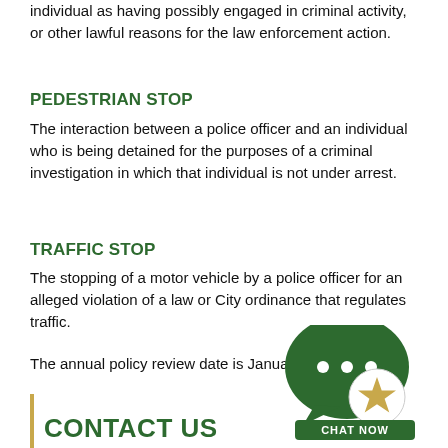individual as having possibly engaged in criminal activity, or other lawful reasons for the law enforcement action.
PEDESTRIAN STOP
The interaction between a police officer and an individual who is being detained for the purposes of a criminal investigation in which that individual is not under arrest.
TRAFFIC STOP
The stopping of a motor vehicle by a police officer for an alleged violation of a law or City ordinance that regulates traffic.
The annual policy review date is January.
[Figure (illustration): Green chat bubble icon with three dots and a smaller white circle containing a gold star, labeled CHAT NOW on a green banner]
CONTACT US